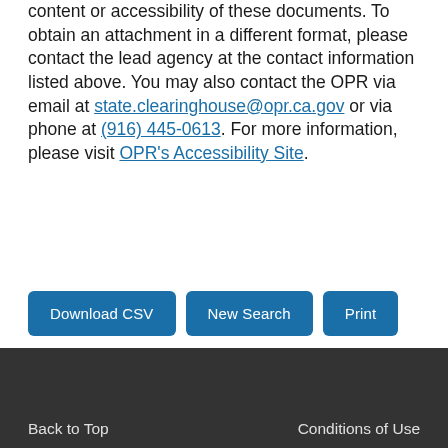accepts no responsibility for the content or accessibility of these documents. To obtain an attachment in a different format, please contact the lead agency at the contact information listed above. You may also contact the OPR via email at state.clearinghouse@opr.ca.gov or via phone at (916) 445-0613. For more information, please visit OPR's Accessibility Site.
Download CSV
New Search
Print
Back to Top    Conditions of Use